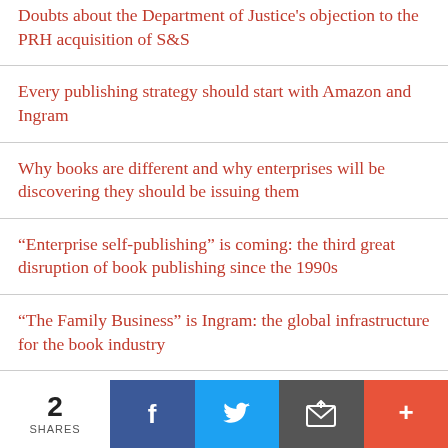Doubts about the Department of Justice’s objection to the PRH acquisition of S&S
Every publishing strategy should start with Amazon and Ingram
Why books are different and why enterprises will be discovering they should be issuing them
“Enterprise self-publishing” is coming: the third great disruption of book publishing since the 1990s
“The Family Business” is Ingram: the global infrastructure for the book industry
Amazon has done so many smart things that some of the best ones get forgotten
2 SHARES